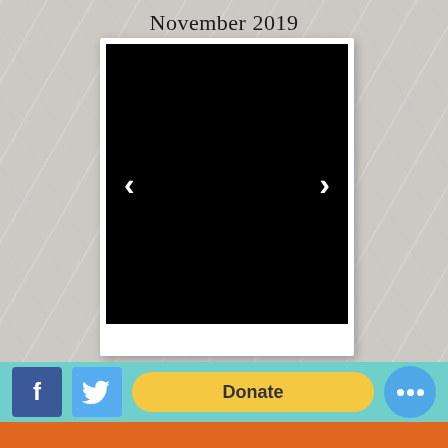November 2019
[Figure (photo): Polaroid-style frame containing a black photo area with left and right navigation arrows (< and >) in white]
TOP
[Figure (screenshot): Bottom toolbar with Facebook icon, Twitter icon, Donate button, and a blue circle more button on a teal background]